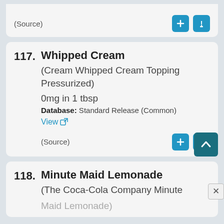(Source)
117. Whipped Cream
(Cream Whipped Cream Topping Pressurized)
0mg in 1 tbsp
Database: Standard Release (Common)
View
(Source)
118. Minute Maid Lemonade
(The Coca-Cola Company Minute Maid Lemonade)